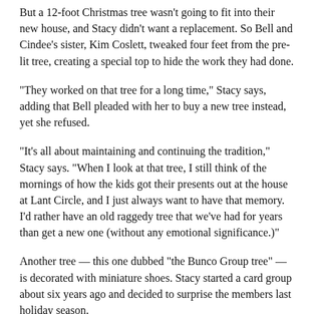But a 12-foot Christmas tree wasn't going to fit into their new house, and Stacy didn't want a replacement. So Bell and Cindee's sister, Kim Coslett, tweaked four feet from the pre-lit tree, creating a special top to hide the work they had done.
"They worked on that tree for a long time," Stacy says, adding that Bell pleaded with her to buy a new tree instead, yet she refused.
"It's all about maintaining and continuing the tradition," Stacy says. "When I look at that tree, I still think of the mornings of how the kids got their presents out at the house at Lant Circle, and I just always want to have that memory. I'd rather have an old raggedy tree that we've had for years than get a new one (without any emotional significance.)"
Another tree — this one dubbed “the Bunco Group tree” — is decorated with miniature shoes. Stacy started a card group about six years ago and decided to surprise the members last holiday season.